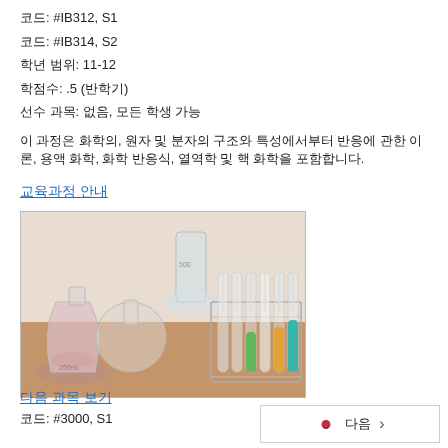코드: #IB312, S1
코드: #IB314, S2
학년 범위: 11-12
학점수:  .5 (반학기)
선수 과목: 없음, 모든 학생 가능
이 과정은 화학의, 원자 및 분자의 구조와 특성에서부터 반응에 관한 이론, 용액 화학, 화학 반응식, 열역학 및 핵 화학을 포함합니다.
교육과정 안내
[Figure (photo): Laboratory equipment including glass flasks, beakers, test tubes in a rack with colored solutions (green, white/clear, orange, teal) on a wooden surface]
다음 과목 보기
코드: #3000, S1
다음